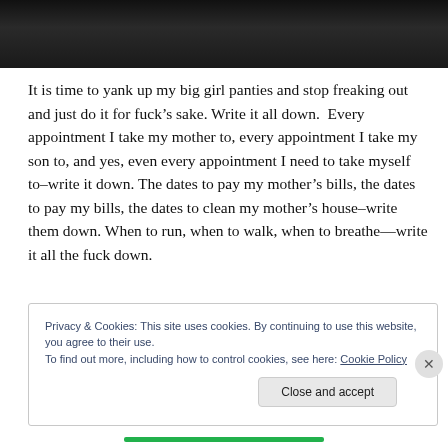[Figure (photo): Dark textured background image strip at top of page]
It is time to yank up my big girl panties and stop freaking out and just do it for fuck’s sake. Write it all down.  Every appointment I take my mother to, every appointment I take my son to, and yes, even every appointment I need to take myself to–write it down. The dates to pay my mother’s bills, the dates to pay my bills, the dates to clean my mother’s house–write them down. When to run, when to walk, when to breathe—write it all the fuck down.
Privacy & Cookies: This site uses cookies. By continuing to use this website, you agree to their use.
To find out more, including how to control cookies, see here: Cookie Policy
Close and accept